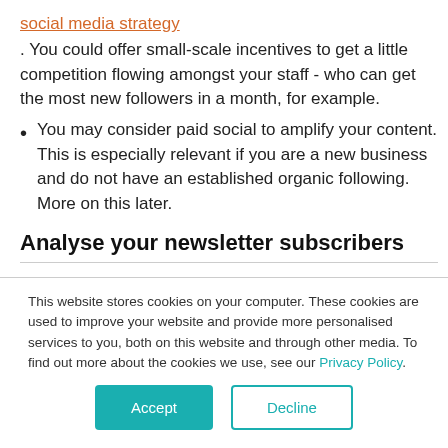social media strategy
. You could offer small-scale incentives to get a little competition flowing amongst your staff - who can get the most new followers in a month, for example.
You may consider paid social to amplify your content. This is especially relevant if you are a new business and do not have an established organic following. More on this later.
Analyse your newsletter subscribers
This website stores cookies on your computer. These cookies are used to improve your website and provide more personalised services to you, both on this website and through other media. To find out more about the cookies we use, see our Privacy Policy.